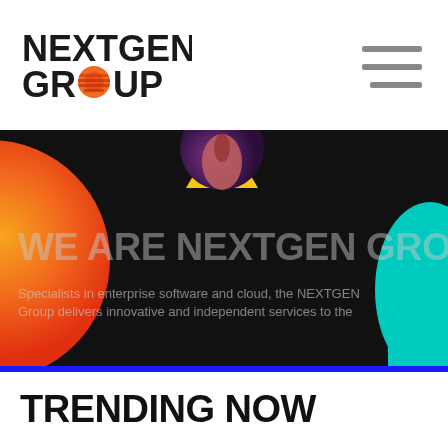[Figure (logo): NEXTGEN GROUP logo with orange/red circular icon replacing the O in GROUP]
[Figure (illustration): Hamburger menu icon with three horizontal bars, gray color]
[Figure (photo): Hero banner with black background, orange gradient circle on left, purple circle with hand at top center, yellow triangle, teal shape on right. Large semi-transparent gray text reads WE ARE NEXTGEN GROUP. Below is descriptive text about specialists in enterprise software and cloud.]
WE ARE NEXTGEN GROUP
Specialists in enterprise software and cloud, the NEXTGEN Group delivers innovative and independent services to the
OUR COMPANIES →
TRENDING NOW